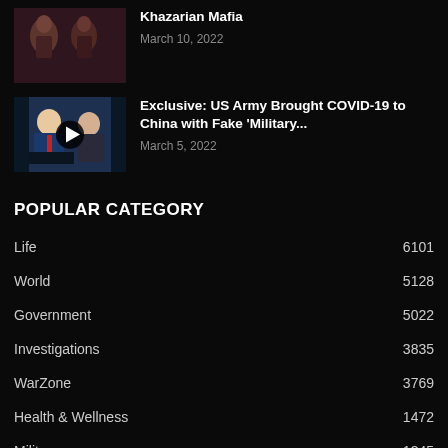[Figure (photo): Thumbnail image showing historical or artistic figures in robes]
Khazarian Mafia
March 10, 2022
[Figure (photo): Thumbnail image showing two men at a press conference podium, with a play button overlay]
Exclusive: US Army Brought COVID-19 to China with Fake 'Military...
March 5, 2022
POPULAR CATEGORY
Life  6101
World  5128
Government  5022
Investigations  3835
WarZone  3769
Health & Wellness  1472
Military  1345